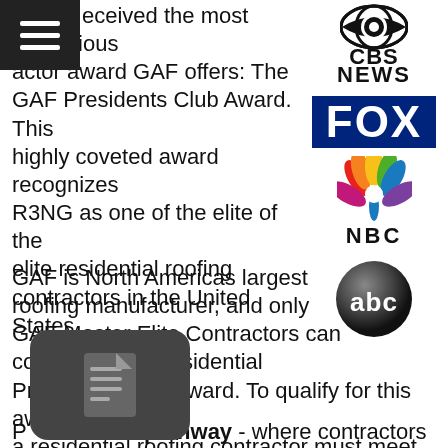eceived the most prestigious actor award GAF offers: The GAF Presidents Club Award. This highly coveted award recognizes R3NG as one of the elite of the elite residential roofing contractors in the United States.
[Figure (logo): CBS News logo — eye graphic above 'CBS' and 'NEWS' text]
[Figure (logo): FOX logo in white bold text on dark blue background]
[Figure (logo): NBC peacock logo with colorful feathers above 'NBC' text]
[Figure (logo): ABC logo — white 'abc' text on dark sphere/button]
GAF is North Americas largest roofing manufacturer, and only GAF Master Elite Contractors can compete for its residential Presidents Club Award. To qualify for this award, a residential roofing contractor must meet specific criteria in at least one out of three different pathways:
Performance pathway - where contractors focus